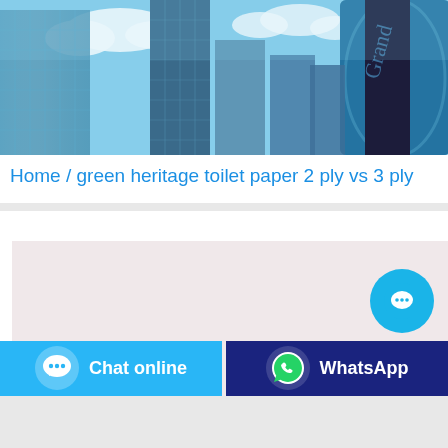[Figure (photo): Upward view of tall glass skyscrapers with blue sky and clouds, city architecture]
Home / green heritage toilet paper 2 ply vs 3 ply
[Figure (screenshot): White card with a pinkish-beige inner frame area, a cyan circular chat bubble button on the right]
Chat online
WhatsApp